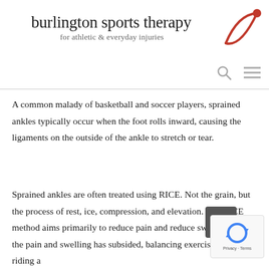burlington sports therapy — for athletic & everyday injuries
A common malady of basketball and soccer players, sprained ankles typically occur when the foot rolls inward, causing the ligaments on the outside of the ankle to stretch or tear.
Sprained ankles are often treated using RICE. Not the grain, but the process of rest, ice, compression, and elevation. The RICE method aims primarily to reduce pain and reduce swelling. Once the pain and swelling has subsided, balancing exercises and riding a